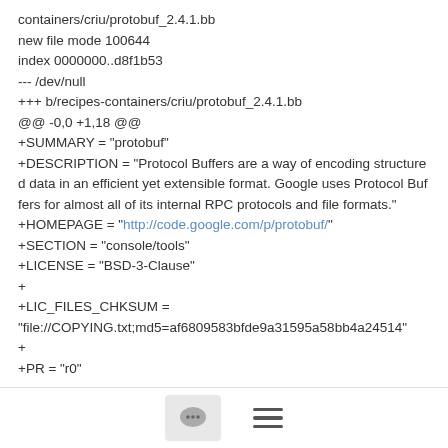containers/criu/protobuf_2.4.1.bb
new file mode 100644
index 0000000..d8f1b53
--- /dev/null
+++ b/recipes-containers/criu/protobuf_2.4.1.bb
@@ -0,0 +1,18 @@
+SUMMARY = "protobuf"
+DESCRIPTION = "Protocol Buffers are a way of encoding structured data in an efficient yet extensible format. Google uses Protocol Buffers for almost all of its internal RPC protocols and file formats."
+HOMEPAGE = "http://code.google.com/p/protobuf/"
+SECTION = "console/tools"
+LICENSE = "BSD-3-Clause"
+
+LIC_FILES_CHKSUM =
"file://COPYING.txt;md5=af6809583bfde9a31595a58bb4a24514"
+
+PR = "r0"
[Figure (other): Footer bar with a comment bubble icon button and a hamburger menu icon]